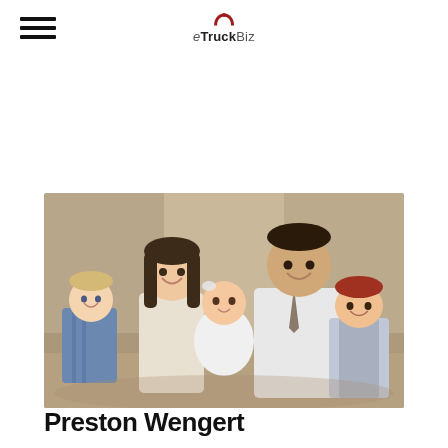eTruckBiz
[Figure (photo): Family portrait of Preston Wengert with his wife, a baby, and two young boys, smiling, in a studio-style setting]
Preston Wengert